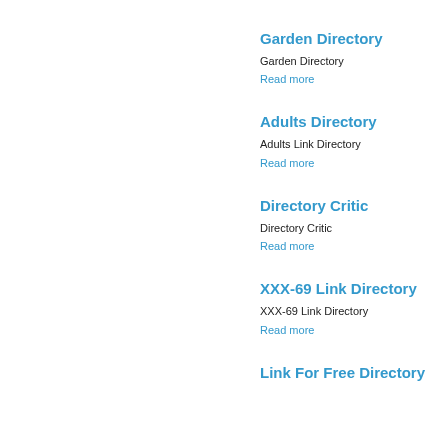Garden Directory
Garden Directory
Read more
Adults Directory
Adults Link Directory
Read more
Directory Critic
Directory Critic
Read more
XXX-69 Link Directory
XXX-69 Link Directory
Read more
Link For Free Directory